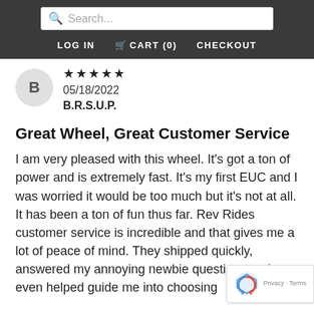Search... | LOG IN | CART (0) | CHECKOUT
B
05/18/2022
B.R.S.U.P.
Great Wheel, Great Customer Service
I am very pleased with this wheel. It's got a ton of power and is extremely fast. It's my first EUC and I was worried it would be too much but it's not at all. It has been a ton of fun thus far. Rev Rides customer service is incredible and that gives me a lot of peace of mind. They shipped quickly, answered my annoying newbie questions and even helped guide me into choosing